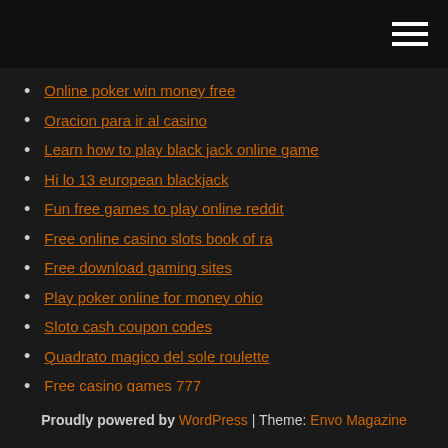Online poker win money free
Oracion para ir al casino
Learn how to play black jack online game
Hi lo 13 european blackjack
Fun free games to play online reddit
Free online casino slots book of ra
Free download gaming sites
Play poker online for money ohio
Sloto cash coupon codes
Quadrato magico del sole roulette
Free casino games 777
Proudly powered by WordPress | Theme: Envo Magazine